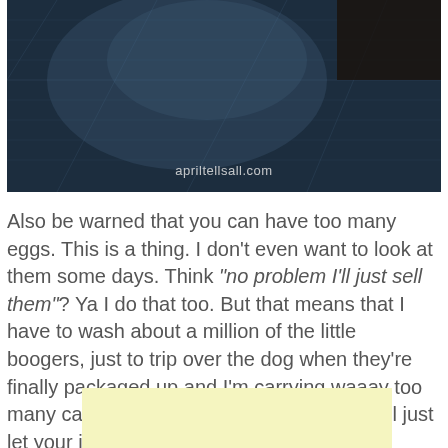[Figure (photo): Dark background photo with denim fabric texture and a watermark reading 'apriltellsall.com' in the lower center area.]
Also be warned that you can have too many eggs. This is a thing. I don't even want to look at them some days. Think "no problem I'll just sell them"? Ya I do that too. But that means that I have to wash about a million of the little boogers, just to trip over the dog when they're finally packaged up and I'm carrying waaay too many cartons to the downstairs fridge. Ya I'll just let your imagine finish that.
[Figure (other): Light yellow/cream colored advertisement or placeholder box.]